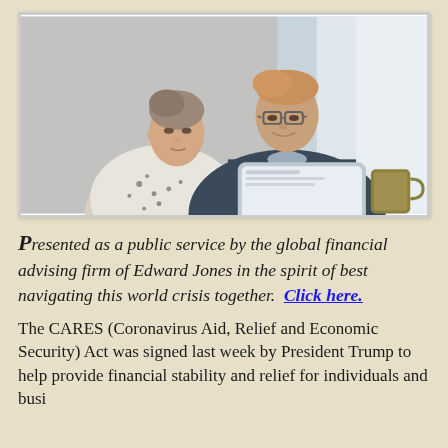[Figure (photo): Two middle-aged adults, a woman and a man, sitting together looking at a tablet device. The man is holding a coffee mug. Indoor setting with bright window light in background.]
Presented as a public service by the global financial advising firm of Edward Jones in the spirit of best navigating this world crisis together.  Click here.
The CARES (Coronavirus Aid, Relief and Economic Security) Act was signed last week by President Trump to help provide financial stability and relief for individuals and businesses